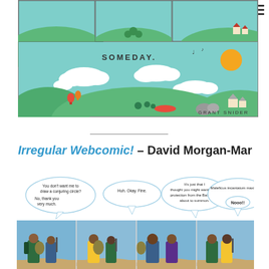[Figure (illustration): Grant Snider comic strip panels showing green hills with the word 'SOMEDAY' in a wide panel, featuring clouds, a sun, hot air balloons, trees and small buildings. Top row has three smaller panels with partial views. Signed 'GRANT SNIDER' at bottom right.]
[Figure (illustration): Irregular Webcomic by David Morgan-Mar. Four comic panels showing fantasy figurines (miniature painted models) with speech bubbles. Bubble 1: 'You don't want me to draw a conjuring circle? No, thank you very much.' Bubble 2: 'Huh. Okay. Fine.' Bubble 3: 'It's just that I thought you might want some protection from the Balrog I'm about to summon.' Bubble 4: 'Maleficus incantatum maximus— Nooo!!']